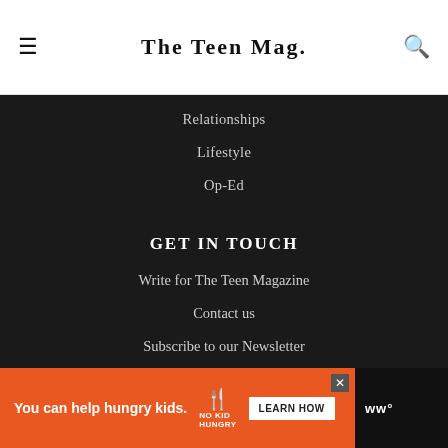The Teen Mag.
Relationships
Lifestyle
Op-Ed
GET IN TOUCH
Write for The Teen Magazine
Contact us
Subscribe to our Newsletter
© 2020 TheTeenMagazine.com
[Figure (screenshot): Advertisement banner: orange background with 'You can help hungry kids.' text, No Kid Hungry logo, LEARN HOW button, and weather widget showing ww°]